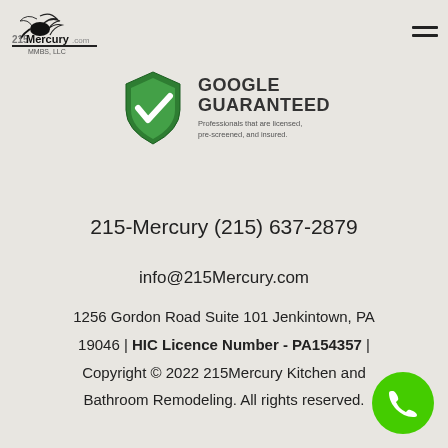[Figure (logo): 215Mercury.com MMBS, LLC logo with bird/feather icon]
[Figure (logo): Google Guaranteed badge - green shield with checkmark, text GOOGLE GUARANTEED, Professionals that are licensed, pre-screened, and insured.]
215-Mercury (215) 637-2879
info@215Mercury.com
1256 Gordon Road Suite 101 Jenkintown, PA 19046 | HIC Licence Number - PA154357 | Copyright © 2022 215Mercury Kitchen and Bathroom Remodeling. All rights reserved.